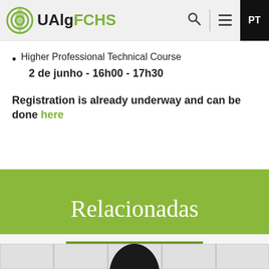UAlgFCHS
Higher Professional Technical Course
2 de junho - 16h00 - 17h30
Registration is already underway and can be done here
Relacionadas
3th to 31st August, 2022
[Figure (photo): Partial view of a person's head at the bottom of the page, with tiled background]